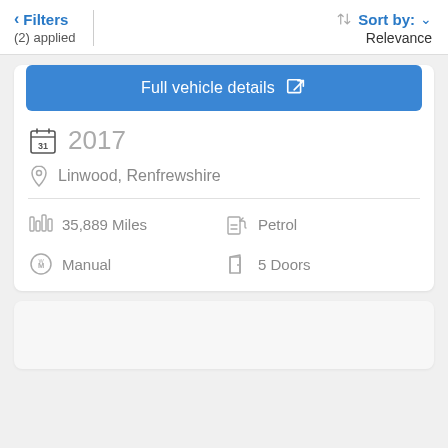< Filters (2) applied | Sort by: Relevance
Full vehicle details
2017
Linwood, Renfrewshire
35,889 Miles
Petrol
Manual
5 Doors